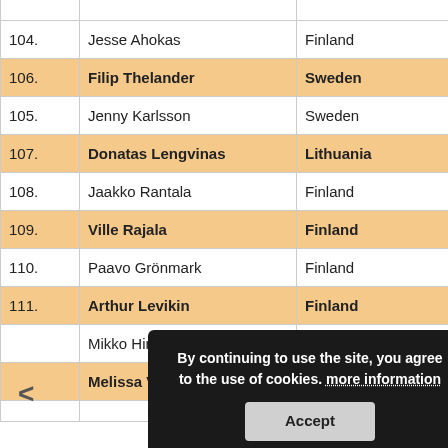| # | Name | Country |  |  |  |
| --- | --- | --- | --- | --- | --- |
| 104. | Jesse Ahokas | Finland | 13 | 180 | 181 |
| 106. | Filip Thelander | Sweden | 12 | 257 | 237 |
| 105. | Jenny Karlsson | Sweden | 12 | 181 | 231 |
| 107. | Donatas Lengvinas | Lithuania | 3 | 205 | 203 |
| 108. | Jaakko Rantala | Finland | 2 | 185 | 189 |
| 109. | Ville Rajala | Finland | 9 | 165 | 221 |
| 110. | Paavo Grönmark | Finland | 6 | 213 | 222 |
| 111. | Arthur Levikin | Finland | 13 | 227 | 245 |
|  | Mikko Hirvonen |  | 4 |  |  |
|  | Melissa Vallons | Belgium | 13 |  |  |
By continuing to use the site, you agree to the use of cookies. more information
Accept